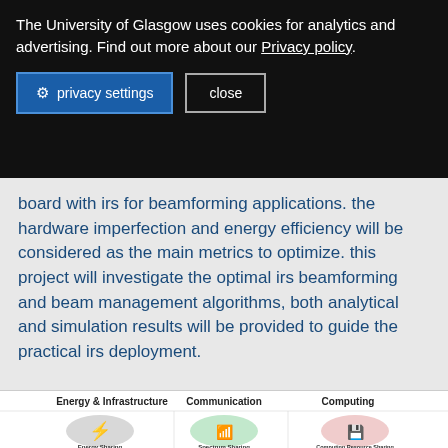The University of Glasgow uses cookies for analytics and advertising. Find out more about our Privacy policy.
privacy settings
close
board with irs for beamforming applications. the hardware imperfection and energy efficiency will be considered as the main metrics to optimize. this project will investigate the optimal irs beamforming and beam management algorithms, both analytical and simulation results will be provided to guide the practical irs deployment.
[Figure (infographic): Diagram with three columns: Energy & Infrastructure (showing Energy Sharing icon in a grey egg shape), Communication (showing Spectrum Sharing icon in a green egg shape), Computing (showing Computing Resource Sharing icon in a pink egg shape). Each column has an icon with a label beneath it.]